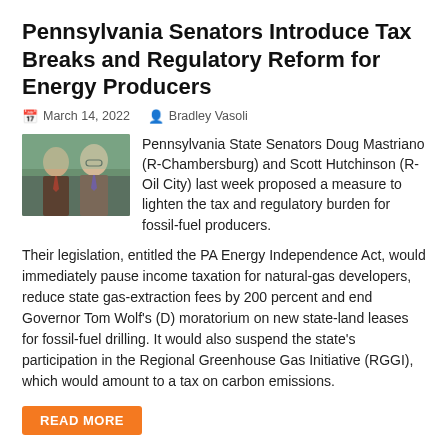Pennsylvania Senators Introduce Tax Breaks and Regulatory Reform for Energy Producers
March 14, 2022   Bradley Vasoli
[Figure (photo): Photo of two Pennsylvania State Senators, Doug Mastriano and Scott Hutchinson, standing together in formal attire]
Pennsylvania State Senators Doug Mastriano (R-Chambersburg) and Scott Hutchinson (R-Oil City) last week proposed a measure to lighten the tax and regulatory burden for fossil-fuel producers.
Their legislation, entitled the PA Energy Independence Act, would immediately pause income taxation for natural-gas developers, reduce state gas-extraction fees by 200 percent and end Governor Tom Wolf's (D) moratorium on new state-land leases for fossil-fuel drilling. It would also suspend the state's participation in the Regional Greenhouse Gas Initiative (RGGI), which would amount to a tax on carbon emissions.
READ MORE